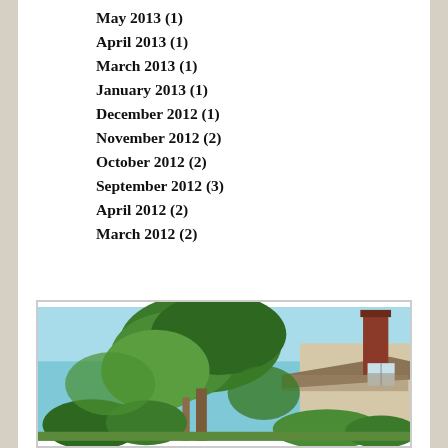May 2013 (1)
April 2013 (1)
March 2013 (1)
January 2013 (1)
December 2012 (1)
November 2012 (2)
October 2012 (2)
September 2012 (3)
April 2012 (2)
March 2012 (2)
[Figure (photo): Outdoor photo showing large green trees and a house with a red brick chimney and shingled roof against a blue sky]